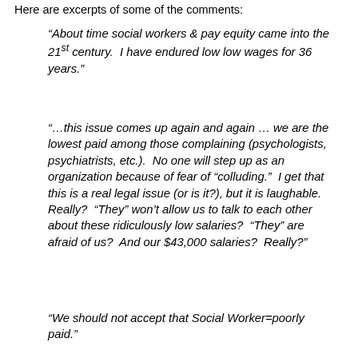Here are excerpts of some of the comments:
“About time social workers & pay equity came into the 21st century. I have endured low low wages for 36 years.”
“…this issue comes up again and again … we are the lowest paid among those complaining (psychologists, psychiatrists, etc.). No one will step up as an organization because of fear of “colluding.” I get that this is a real legal issue (or is it?), but it is laughable. Really? “They” won’t allow us to talk to each other about these ridiculously low salaries? “They” are afraid of us? And our $43,000 salaries? Really?”
“We should not accept that Social Worker=poorly paid.”